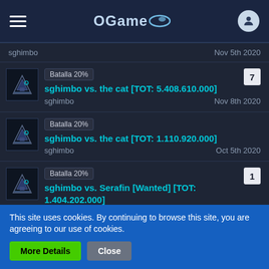OGame
sghimbo vs. the cat [TOT: 5.408.610.000] - sghimbo - Nov 8th 2020 - Batalla 20% - 7 replies
sghimbo vs. the cat [TOT: 1.110.920.000] - sghimbo - Oct 5th 2020 - Batalla 20%
sghimbo vs. Serafin [Wanted] [TOT: 1.404.202.000] - sghimbo - Oct 9th 2020 - Batalla 20% - 1 reply
This site uses cookies. By continuing to browse this site, you are agreeing to our use of cookies.
More Details | Close